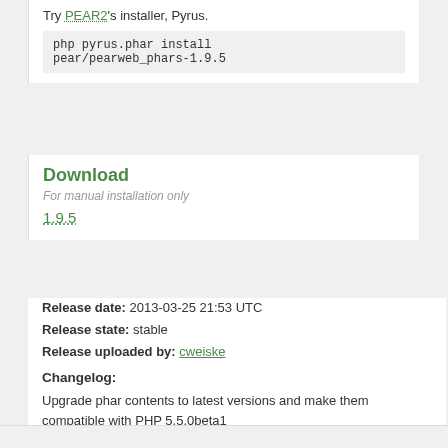Try PEAR2's installer, Pyrus.
php pyrus.phar install
pear/pearweb_phars-1.9.5
Download
For manual installation only
1.9.5
Release date: 2013-03-25 21:53 UTC
Release state: stable
Release uploaded by: cweiske
Changelog:
Upgrade phar contents to latest versions and make them compatible with PHP 5.5.0beta1
Dependencies:
PHP Version: PHP 4.4.0 or newer
PEAR Package: PEAR Installer 1.4.11 or newer